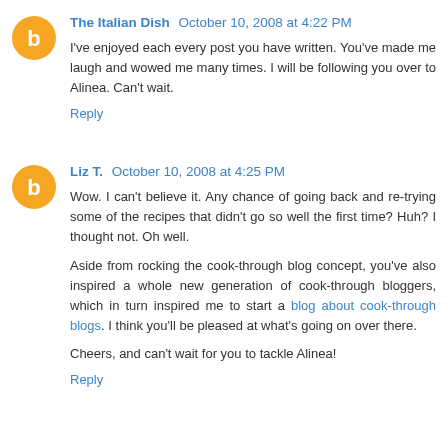The Italian Dish  October 10, 2008 at 4:22 PM
I've enjoyed each every post you have written. You've made me laugh and wowed me many times. I will be following you over to Alinea. Can't wait.
Reply
Liz T.  October 10, 2008 at 4:25 PM
Wow. I can't believe it. Any chance of going back and re-trying some of the recipes that didn't go so well the first time? Huh? I thought not. Oh well.
Aside from rocking the cook-through blog concept, you've also inspired a whole new generation of cook-through bloggers, which in turn inspired me to start a blog about cook-through blogs. I think you'll be pleased at what's going on over there.
Cheers, and can't wait for you to tackle Alinea!
Reply